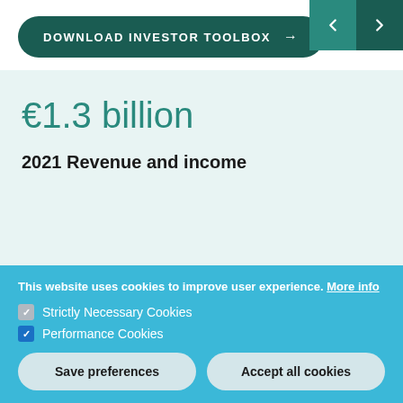[Figure (other): Download Investor Toolbox button - dark teal rounded pill button with white uppercase text and arrow]
[Figure (other): Navigation arrows - two teal square buttons with left and right chevron arrows]
€1.3 billion
2021 Revenue and income
This website uses cookies to improve user experience. More info
Strictly Necessary Cookies
Performance Cookies
Save preferences
Accept all cookies